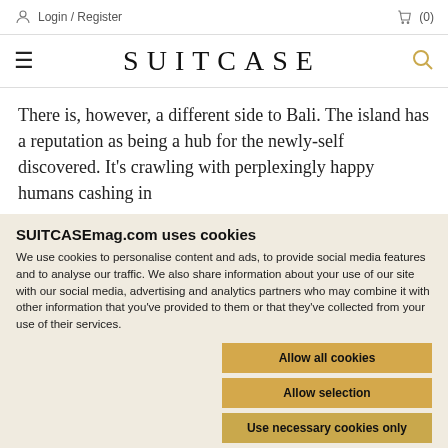Login / Register   (0)
SUITCASE
There is, however, a different side to Bali. The island has a reputation as being a hub for the newly-self discovered. It's crawling with perplexingly happy humans cashing in
SUJTCASEmag.com uses cookies
We use cookies to personalise content and ads, to provide social media features and to analyse our traffic. We also share information about your use of our site with our social media, advertising and analytics partners who may combine it with other information that you've provided to them or that they've collected from your use of their services.
Allow all cookies
Allow selection
Use necessary cookies only
Necessary   Preferences   Statistics   Marketing   Show details